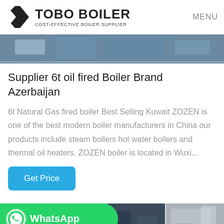TOBO BOILER - COST-EFFECTIVE BOILER SUPPLIER | MENU
[Figure (photo): Industrial boiler machinery close-up photo, blue/grey tones]
Supplier 6t oil fired Boiler Brand Azerbaijan
6t Natural Gas fired boiler Best Selling Kuwait ZOZEN is one of the best modern boiler manufacturers in China our products include steam boilers hot water boilers and thermal oil heaters. ZOZEN boiler is located in Wuxi...
[Figure (infographic): WhatsApp green badge with icon and text, overlaid on three industrial boiler photos at bottom of page]